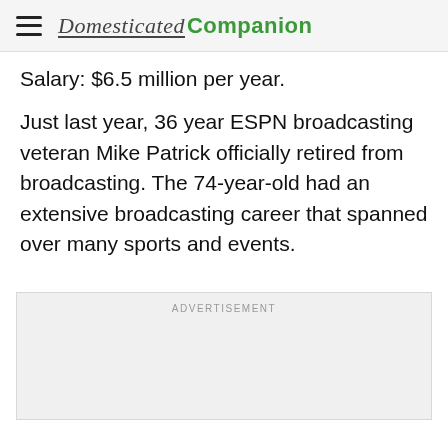Domesticated Companion
Salary: $6.5 million per year.
Just last year, 36 year ESPN broadcasting veteran Mike Patrick officially retired from broadcasting. The 74-year-old had an extensive broadcasting career that spanned over many sports and events.
[Figure (other): Advertisement placeholder box with label ADVERTISEMENT]